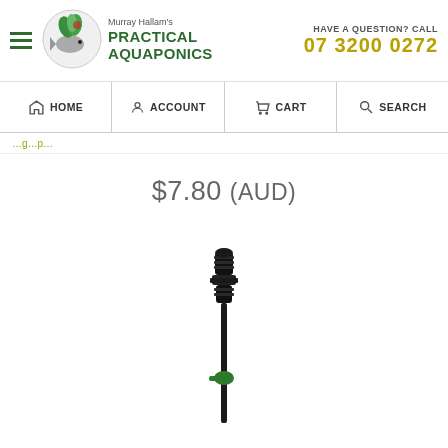Murray Hallam's PRACTICAL AQUAPONICS | HAVE A QUESTION? CALL 07 3200 0272
[Figure (logo): Circular logo with fish and leaves for Murray Hallam's Practical Aquaponics]
$7.80 (AUD)
[Figure (photo): A black drip irrigation or aquaponics riser stake with a connector fitting at the top and a green valve/emitter near the bottom, on a white background]